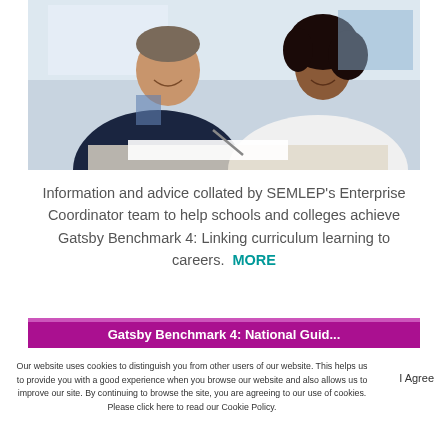[Figure (photo): Two people, a middle-aged man and a younger woman, smiling and working together at a desk in a classroom setting. The man is pointing at something on paper while the woman holds a pen.]
Information and advice collated by SEMLEP's Enterprise Coordinator team to help schools and colleges achieve Gatsby Benchmark 4: Linking curriculum learning to careers.  MORE
[Figure (other): Purple banner with partial white text reading 'Gatsby Benchmark 4: National Guide...' (partially visible)]
Our website uses cookies to distinguish you from other users of our website. This helps us to provide you with a good experience when you browse our website and also allows us to improve our site. By continuing to browse the site, you are agreeing to our use of cookies. Please click here to read our Cookie Policy.
I Agree